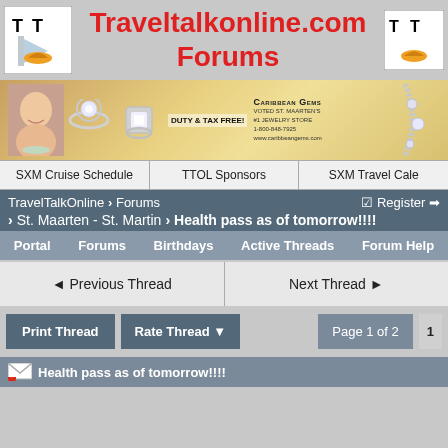[Figure (logo): TravelTalkOnline.com Forums header with TT logos on each side and red text title in center]
[Figure (photo): Caribbean Gems advertisement banner — woman smiling, diamond rings, Duty & Tax Free, voted St. Maarten's #1 Jewelry Store, 1-800-848-7925, www.caribbeangems.com]
SXM Cruise Schedule | TTOL Sponsors | SXM Travel Cale
TravelTalkOnline > Forums   ☑ Register →
> St. Maarten - St. Martin > Health pass as of tomorrow!!!!
Portal  Forums  Birthdays  Active Threads  Forum Help
◄ Previous Thread
Next Thread ►
Print Thread   Rate Thread ▼   Page 1 of 2   1
Health pass as of tomorrow!!!!